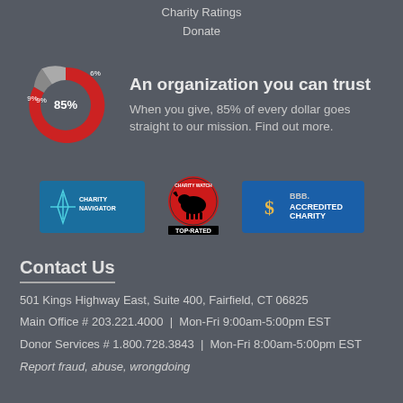Charity Ratings
Donate
[Figure (donut-chart): Organization spending breakdown]
An organization you can trust
When you give, 85% of every dollar goes straight to our mission. Find out more.
[Figure (logo): Charity Navigator logo badge]
[Figure (logo): Charity Watch Top-Rated badge]
[Figure (logo): BBB Accredited Charity badge]
Contact Us
501 Kings Highway East, Suite 400, Fairfield, CT 06825
Main Office # 203.221.4000  |  Mon-Fri 9:00am-5:00pm EST
Donor Services # 1.800.728.3843  |  Mon-Fri 8:00am-5:00pm EST
Report fraud, abuse, wrongdoing